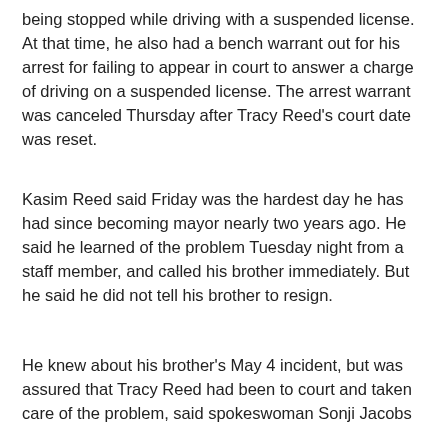being stopped while driving with a suspended license. At that time, he also had a bench warrant out for his arrest for failing to appear in court to answer a charge of driving on a suspended license. The arrest warrant was canceled Thursday after Tracy Reed's court date was reset.
Kasim Reed said Friday was the hardest day he has had since becoming mayor nearly two years ago. He said he learned of the problem Tuesday night from a staff member, and called his brother immediately. But he said he did not tell his brother to resign.
He knew about his brother's May 4 incident, but was assured that Tracy Reed had been to court and taken care of the problem, said spokeswoman Sonji Jacobs